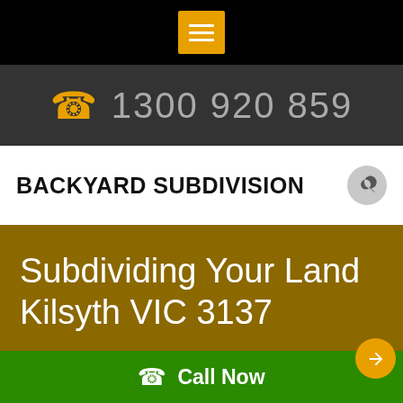[Figure (screenshot): Mobile website screenshot showing top navigation bar with hamburger menu icon on black background]
1300 920 859
BACKYARD SUBDIVISION
Subdividing Your Land Kilsyth VIC 3137
Call Now